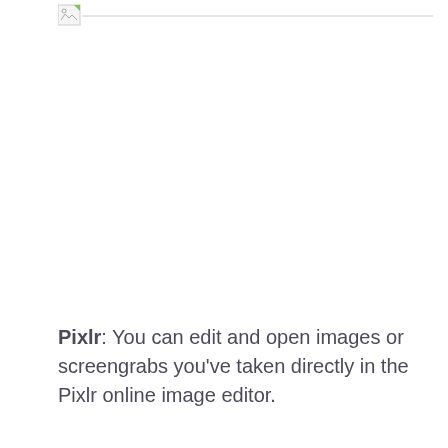[Figure (illustration): Broken image placeholder icon with a horizontal line extending to the right]
Pixlr: You can edit and open images or screengrabs you've taken directly in the Pixlr online image editor.